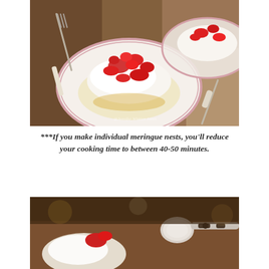[Figure (photo): Food photograph showing individual meringue nests topped with whipped cream and fresh sliced strawberries, served on a plate with pink rim, placed on a wicker basket. A second meringue nest with strawberries is visible in the background. Silverware visible. Watermark: @Jennifer Whittens Jones]
***If you make individual meringue nests, you'll reduce your cooking time to between 40-50 minutes.
[Figure (photo): Close-up food photograph showing a meringue dessert with whipped cream and a strawberry slice, with an ornate silver spoon visible in the foreground against a dark warm background.]